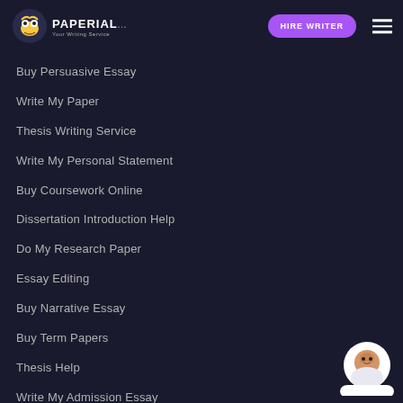PAPERIAL — HIRE WRITER
Buy Persuasive Essay
Write My Paper
Thesis Writing Service
Write My Personal Statement
Buy Coursework Online
Dissertation Introduction Help
Do My Research Paper
Essay Editing
Buy Narrative Essay
Buy Term Papers
Thesis Help
Write My Admission Essay
Custom Term Paper
Buy Critical Essay
Professional Dissertation Writers
[Figure (photo): Chat widget with smiling woman avatar in circular frame at bottom right]